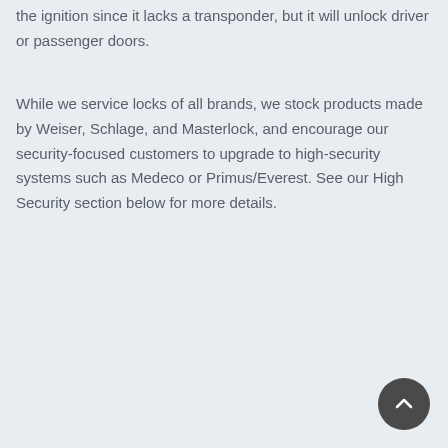the ignition since it lacks a transponder, but it will unlock driver or passenger doors.
While we service locks of all brands, we stock products made by Weiser, Schlage, and Masterlock, and encourage our security-focused customers to upgrade to high-security systems such as Medeco or Primus/Everest. See our High Security section below for more details.